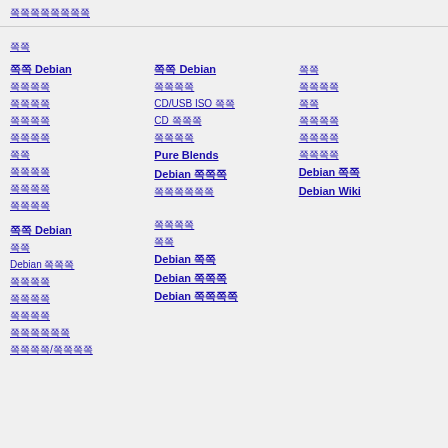쪽쪽쪽쪽쪽쪽쪽쪽
쪽쪽
쪽쪽 Debian
쪽쪽쪽쪽
쪽쪽쪽쪽
쪽쪽쪽쪽
쪽쪽쪽쪽
쪽쪽
쪽쪽쪽쪽
쪽쪽쪽쪽
쪽쪽쪽쪽
쪽쪽 Debian
쪽쪽
Debian 쪽쪽쪽
쪽쪽쪽쪽
쪽쪽쪽쪽
쪽쪽쪽쪽
쪽쪽쪽쪽쪽쪽
쪽쪽쪽쪽/쪽쪽쪽쪽
쪽쪽 Debian
쪽쪽쪽쪽
CD/USB ISO 쪽쪽
CD 쪽쪽쪽
쪽쪽쪽쪽
Pure Blends
Debian 쪽쪽쪽
쪽쪽쪽쪽쪽쪽
쪽쪽쪽쪽
쪽쪽
Debian 쪽쪽
쪽쪽쪽쪽
쪽쪽쪽쪽
쪽쪽쪽쪽
쪽쪽쪽쪽
Debian 쪽쪽
Debian Wiki
쪽쪽쪽쪽
쪽쪽
Debian 쪽쪽
Debian 쪽쪽쪽
Debian 쪽쪽쪽쪽